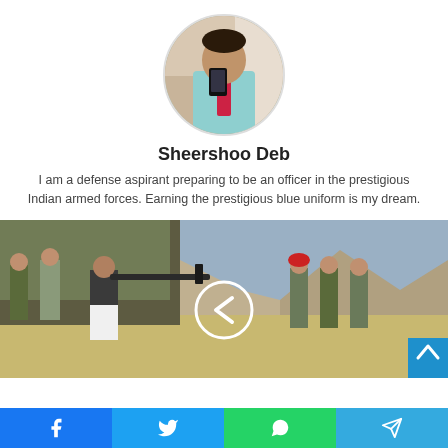[Figure (photo): Circular profile photo of a young man taking a mirror selfie, wearing a light blue shirt and red tie]
Sheershoo Deb
I am a defense aspirant preparing to be an officer in the prestigious Indian armed forces. Earning the prestigious blue uniform is my dream.
[Figure (photo): Photo of people in military uniform at a shooting range in a desert/mountain landscape, with a circular left-arrow navigation button overlay]
[Figure (infographic): Social media share bar with Facebook, Twitter, WhatsApp, and Telegram buttons at the bottom of the page]